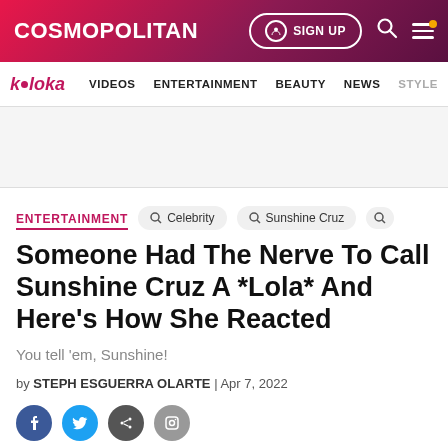COSMOPOLITAN
k•loka  VIDEOS  ENTERTAINMENT  BEAUTY  NEWS  STYLE
ENTERTAINMENT
Someone Had The Nerve To Call Sunshine Cruz A *Lola* And Here's How She Reacted
You tell 'em, Sunshine!
by STEPH ESGUERRA OLARTE | Apr 7, 2022